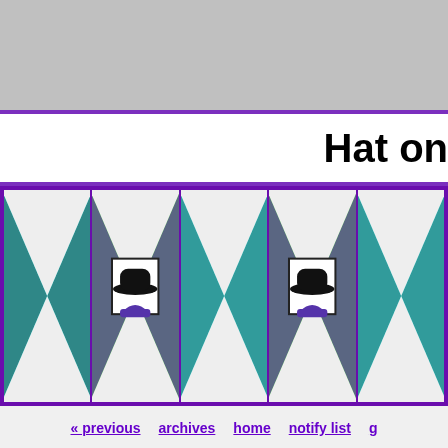Hat on
[Figure (illustration): Decorative quilt/banner strip with repeating quilt block pattern in teal, purple, and white with bowler hat motif]
« previous   archives   home   notify list   g
South and Back Again
October 25, 2006
Grab a cup of your preferred beverage and settle in—here's my roa the pictures, they're here.
Day 1—Home to Rolla, Missouri
This first day was spent driving through p time in: Michigan, Indiana, Illinois, and the hoped to connect with a friend I haven't m